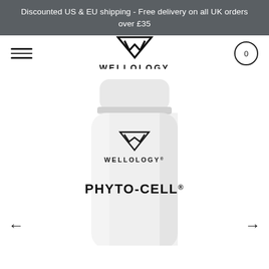Discounted US & EU shipping - Free delivery on all UK orders over £35
[Figure (logo): Wellology brand logo: downward-pointing triangle (chevron W shape) above the text WELLOLOGY in bold uppercase spaced letters]
[Figure (photo): Close-up of a white supplement bottle with cap visible at top. The bottle label shows the Wellology logo (triangle/W symbol), WELLOLOGY® brand name, and PHYTO-CELL® product name in bold. The bottom of the bottle is cut off by the page edge.]